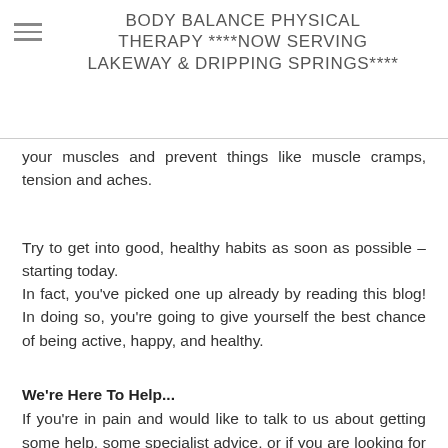BODY BALANCE PHYSICAL THERAPY ****NOW SERVING LAKEWAY & DRIPPING SPRINGS****
your muscles and prevent things like muscle cramps, tension and aches.
Try to get into good, healthy habits as soon as possible – starting today.
In fact, you've picked one up already by reading this blog! In doing so, you're going to give yourself the best chance of being active, happy, and healthy.
We're Here To Help...
If you're in pain and would like to talk to us about getting some help, some specialist advice, or if you are looking for a diagnosis, remember we are always here to help you.
We are safely offering both face-to-face